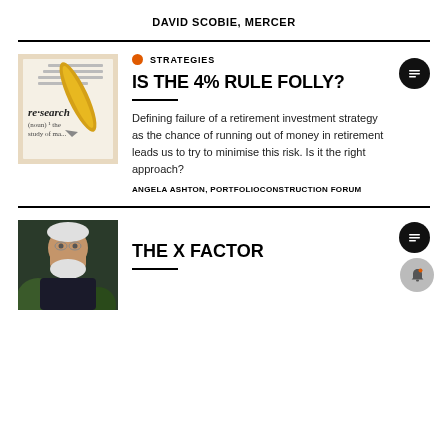DAVID SCOBIE, MERCER
STRATEGIES
IS THE 4% RULE FOLLY?
Defining failure of a retirement investment strategy as the chance of running out of money in retirement leads us to try to minimise this risk. Is it the right approach?
ANGELA ASHTON, PORTFOLIOCONSTRUCTION FORUM
THE X FACTOR
[Figure (photo): Dictionary page showing word 're-search' definition with fountain pen]
[Figure (photo): Portrait of older man with white beard]